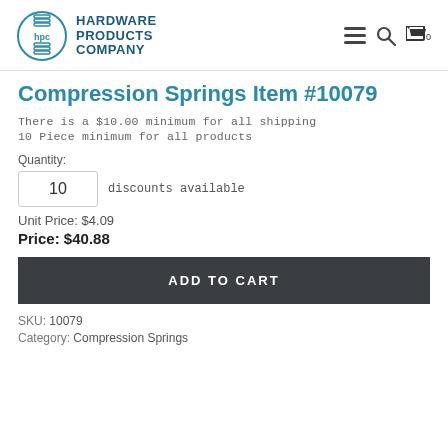[Figure (logo): Hardware Products Company logo with HPC circular spring icon and company name text]
Compression Springs Item #10079
There is a $10.00 minimum for all shipping
10 Piece minimum for all products
Quantity: 10 discounts available
Unit Price: $4.09
Price: $40.88
ADD TO CART
SKU: 10079
Category: Compression Springs